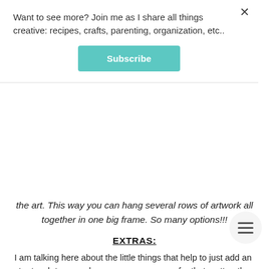Want to see more? Join me as I share all things creative: recipes, crafts, parenting, organization, etc..
Subscribe
the art. This way you can hang several rows of artwork all together in one big frame. So many options!!!
EXTRAS:
I am talking here about the little things that help to just add an extra touch to your playroom... or any room for that matter: the seating, the rug, the tv (because you know you have one in your playroom too!), any photos or decorations on the walls, etc..